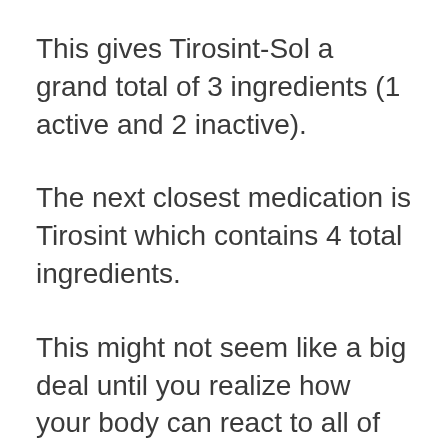This gives Tirosint-Sol a grand total of 3 ingredients (1 active and 2 inactive).
The next closest medication is Tirosint which contains 4 total ingredients.
This might not seem like a big deal until you realize how your body can react to all of the inactive ingredients that I mentioned above.
And until you realize just how many inactive ingredients other medications